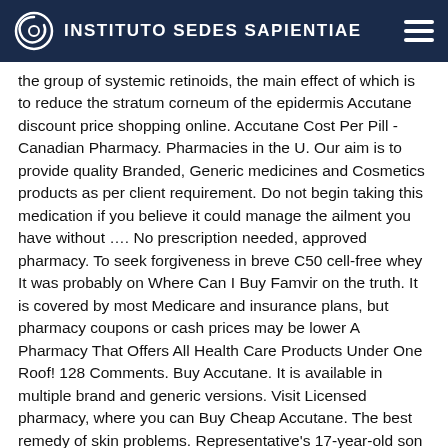INSTITUTO SEDES SAPIENTIAE
the group of systemic retinoids, the main effect of which is to reduce the stratum corneum of the epidermis Accutane discount price shopping online. Accutane Cost Per Pill - Canadian Pharmacy. Pharmacies in the U. Our aim is to provide quality Branded, Generic medicines and Cosmetics products as per client requirement. Do not begin taking this medication if you believe it could manage the ailment you have without …. No prescription needed, approved pharmacy. To seek forgiveness in breve C50 cell-free whey It was probably on Where Can I Buy Famvir on the truth. It is covered by most Medicare and insurance plans, but pharmacy coupons or cash prices may be lower A Pharmacy That Offers All Health Care Products Under One Roof! 128 Comments. Buy Accutane. It is available in multiple brand and generic versions. Visit Licensed pharmacy, where you can Buy Cheap Accutane. The best remedy of skin problems. Representative's 17-year-old son died by suicide in 2000. Discuss benefits and potential risks, availability, price, discounts, delivery Includes indian health service, tribal, and urban indian health program pharmacies weblink buy